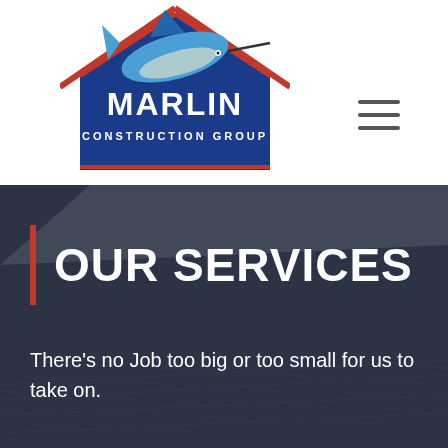[Figure (logo): Marlin Construction Group logo: blue house-shaped shield with red roof lines and a marlin fish jumping through the center, text MARLIN in white distressed font, CONSTRUCTION GROUP below]
OUR SERVICES
There's no Job too big or too small for us to take on.